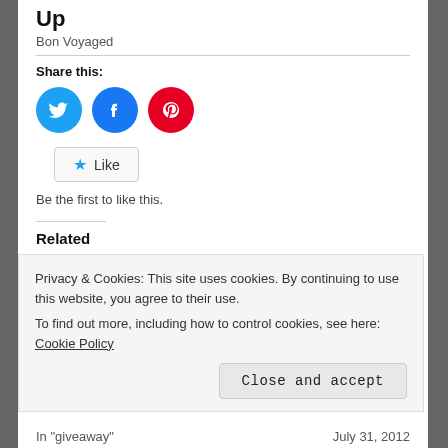Up
Bon Voyaged
Share this:
[Figure (infographic): Social sharing icons: Twitter (blue circle), Facebook (dark blue circle), Pinterest (red circle)]
[Figure (infographic): Like button with blue star icon and text 'Like']
Be the first to like this.
Related
[Figure (photo): Baby image with text 'September 6th - 12th' in red cursive]
[Figure (photo): Baby image with text 'September 6th - 12th' in red cursive]
Privacy & Cookies: This site uses cookies. By continuing to use this website, you agree to their use.
To find out more, including how to control cookies, see here: Cookie Policy
Close and accept
In "giveaway"
July 31, 2012